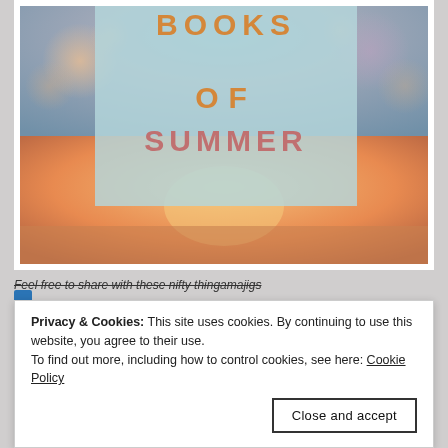[Figure (illustration): Book cover image showing 'BOOKS OF SUMMER' text on a light blue rectangle centered over a blurred bokeh sunset/beach background with orange and blue tones.]
Feel free to share with these nifty thingamajigs
Privacy & Cookies: This site uses cookies. By continuing to use this website, you agree to their use. To find out more, including how to control cookies, see here: Cookie Policy
Close and accept